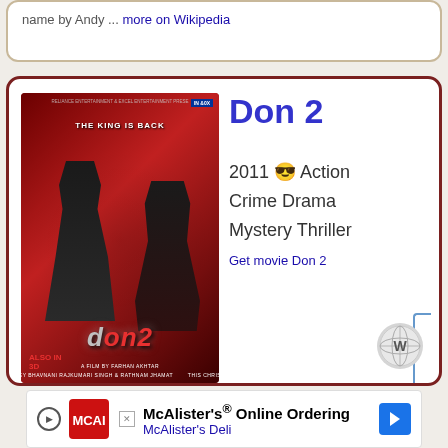name by Andy ... more on Wikipedia
[Figure (photo): Don 2 movie poster showing two figures, tagline THE KING IS BACK, red background, also in 3D, This Christmas]
Don 2
2011 😎 Action Crime Drama Mystery Thriller
Get movie Don 2
McAlister's® Online Ordering McAlister's Deli